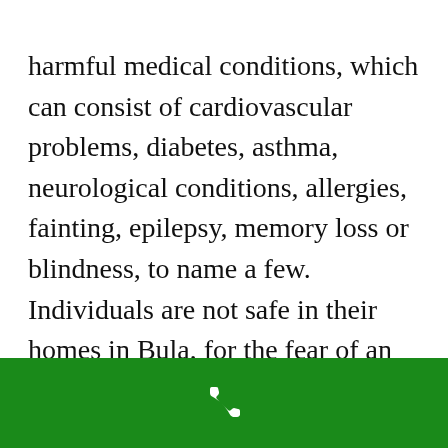harmful medical conditions, which can consist of cardiovascular problems, diabetes, asthma, neurological conditions, allergies, fainting, epilepsy, memory loss or blindness, to name a few. Individuals are not safe in their homes in Bula, for the fear of an attack taking place when they are home alone. Also, they may fear venturing from their homes easily. The circumstance becomes all the more major when a person lives alone. Monetary restrictions might compel him to work, even if he suffers
[Figure (other): Green navigation bar at the bottom of a mobile screen with a white phone/call icon in the center]